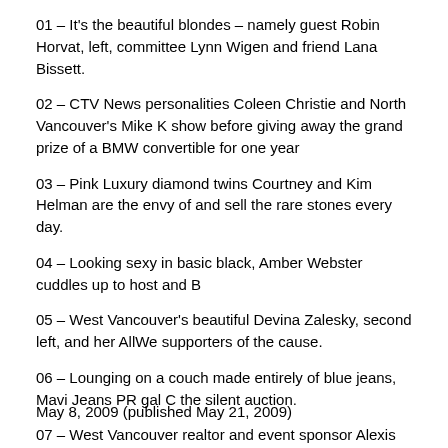01 – It's the beautiful blondes – namely guest Robin Horvat, left, committee Lynn Wigen and friend Lana Bissett.
02 – CTV News personalities Coleen Christie and North Vancouver's Mike K show before giving away the grand prize of a BMW convertible for one year
03 – Pink Luxury diamond twins Courtney and Kim Helman are the envy of and sell the rare stones every day.
04 – Looking sexy in basic black, Amber Webster cuddles up to host and B
05 – West Vancouver's beautiful Devina Zalesky, second left, and her AllWe supporters of the cause.
06 – Lounging on a couch made entirely of blue jeans, Mavi Jeans PR gal C the silent auction.
07 – West Vancouver realtor and event sponsor Alexis Palkowski joins Sher very worthwhile cause.
May 8, 2009 (published May 21, 2009)